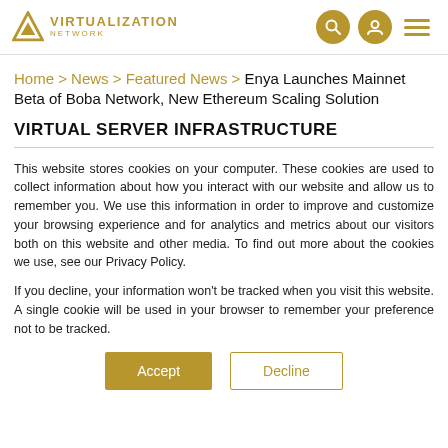Virtualization Network
Home > News > Featured News > Enya Launches Mainnet Beta of Boba Network, New Ethereum Scaling Solution
VIRTUAL SERVER INFRASTRUCTURE
This website stores cookies on your computer. These cookies are used to collect information about how you interact with our website and allow us to remember you. We use this information in order to improve and customize your browsing experience and for analytics and metrics about our visitors both on this website and other media. To find out more about the cookies we use, see our Privacy Policy.
If you decline, your information won't be tracked when you visit this website. A single cookie will be used in your browser to remember your preference not to be tracked.